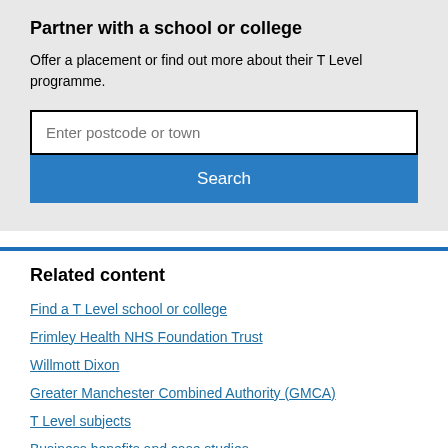Partner with a school or college
Offer a placement or find out more about their T Level programme.
Enter postcode or town
Search
Related content
Find a T Level school or college
Frimley Health NHS Foundation Trust
Willmott Dixon
Greater Manchester Combined Authority (GMCA)
T Level subjects
Business benefits and case studies